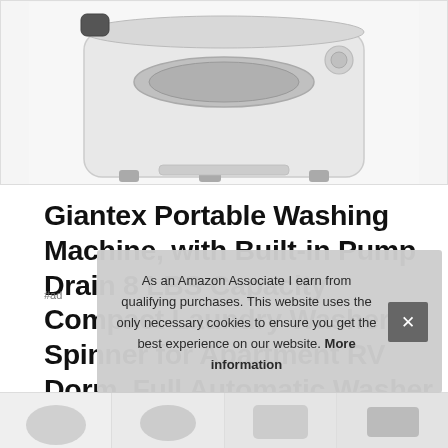[Figure (photo): Giantex portable washing machine product photo, white compact washer unit shown from above-side angle, on white background]
Giantex Portable Washing Machine, with Built-in Pump Drain 8 LBS Capacity Compact Laundry Washer Spinner for Apartment RV Dorm, Full Automatic Washer and Drver Combo
As an Amazon Associate I earn from qualifying purchases. This website uses the only necessary cookies to ensure you get the best experience on our website. More information
[Figure (photo): Row of product thumbnail images at bottom of page]